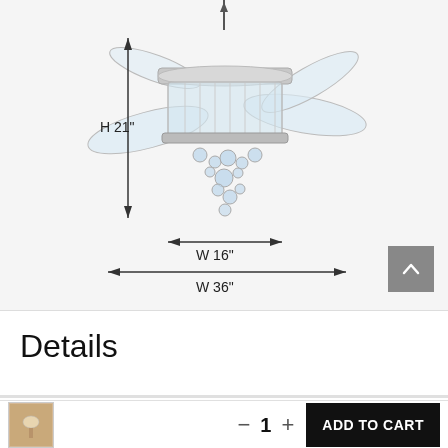[Figure (engineering-diagram): Dimensional diagram of a crystal ceiling fan chandelier with retractable blades. Shows height H 21" with vertical arrow on left side, width W 16" with horizontal arrow spanning the light fixture body, and width W 36" with horizontal arrow spanning the full blade diameter. The fan has a chrome/silver finish with crystal droplets hanging below.]
Details
[Figure (photo): Small thumbnail photo of a ceiling fan/chandelier product]
— 1 +
ADD TO CART